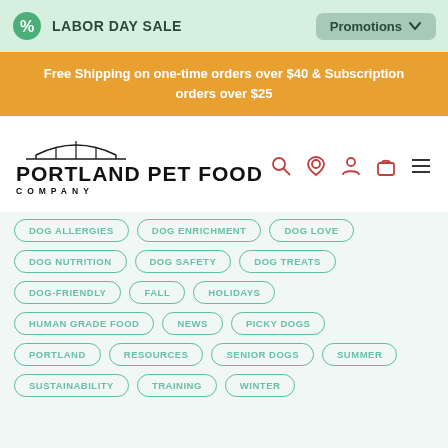LABOR DAY SALE  Promotions
Free Shipping on one-time orders over $40 & Subscription orders over $25
[Figure (logo): Portland Pet Food Company logo with bridge illustration above the brand name]
DOG ALLERGIES
DOG ENRICHMENT
DOG LOVE
DOG NUTRITION
DOG SAFETY
DOG TREATS
DOG-FRIENDLY
FALL
HOLIDAYS
HUMAN GRADE FOOD
NEWS
PICKY DOGS
PORTLAND
RESOURCES
SENIOR DOGS
SUMMER
SUSTAINABILITY
TRAINING
WINTER